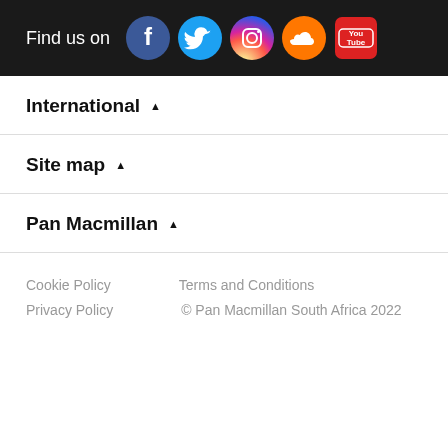[Figure (infographic): Dark bar with 'Find us on' text and social media icons: Facebook, Twitter, Instagram, SoundCloud, YouTube]
International ▲
Site map ▲
Pan Macmillan ▲
Cookie Policy    Terms and Conditions
Privacy Policy    © Pan Macmillan South Africa 2022